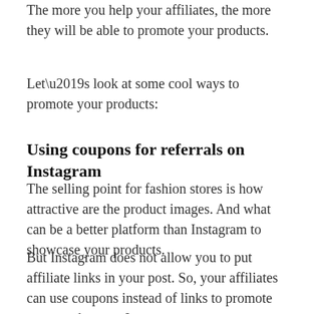The more you help your affiliates, the more they will be able to promote your products.
Let’s look at some cool ways to promote your products:
Using coupons for referrals on Instagram
The selling point for fashion stores is how attractive are the product images. And what can be a better platform than Instagram to showcase your products.
But Instagram does not allow you to put affiliate links in your post. So, your affiliates can use coupons instead of links to promote your products on Instagram.
Btw, Instagram’s audience is more of the youth. So